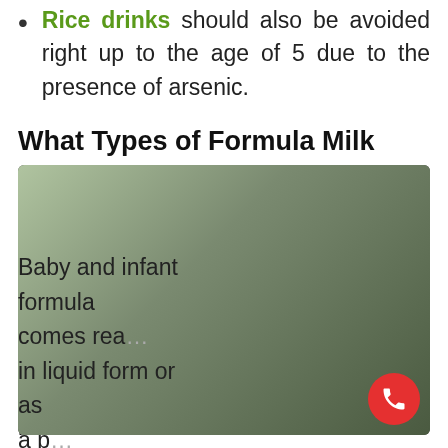Rice drinks should also be avoided right up to the age of 5 due to the presence of arsenic.
What Types of Formula Milk Can Your Little One Drink?
Baby and infant formula comes ready in liquid form or as a powder that needs to be carefully and hygienically made up. The liquid variety is
[Figure (screenshot): Cookie consent overlay on a webpage with dark semi-transparent background showing: text 'This site uses cookies. By continuing to browse the site, you are agreeing to our use of cookies.', a green pill-shaped 'Accept settings' button, and a white pill-shaped 'Hide notification only' button in green text. A red circular phone icon is in the bottom right. Behind the overlay is a partially visible photo of a woman and baby.]